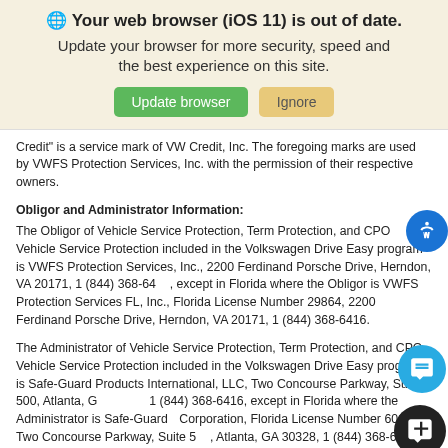[Figure (screenshot): Browser update banner with globe icon, bold text 'Your web browser (iOS 11) is out of date.', subtext 'Update your browser for more security, speed and the best experience on this site.', green 'Update browser' button and tan 'Ignore' button.]
Credit" is a service mark of VW Credit, Inc. The foregoing marks are used by VWFS Protection Services, Inc. with the permission of their respective owners.
Obligor and Administrator Information:
The Obligor of Vehicle Service Protection, Term Protection, and CPO Vehicle Service Protection included in the Volkswagen Drive Easy program is VWFS Protection Services, Inc., 2200 Ferdinand Porsche Drive, Herndon, VA 20171, 1 (844) 368-6416, except in Florida where the Obligor is VWFS Protection Services FL, Inc., Florida License Number 29864, 2200 Ferdinand Porsche Drive, Herndon, VA 20171, 1 (844) 368-6416.
The Administrator of Vehicle Service Protection, Term Protection, and CPO Vehicle Service Protection included in the Volkswagen Drive Easy program is Safe-Guard Products International, LLC, Two Concourse Parkway, Suite 500, Atlanta, GA 30328, 1 (844) 368-6416, except in Florida where the Administrator is Safe-Guard Corporation, Florida License Number 60126, Two Concourse Parkway, Suite 500, Atlanta, GA 30328, 1 (844) 368-6416.